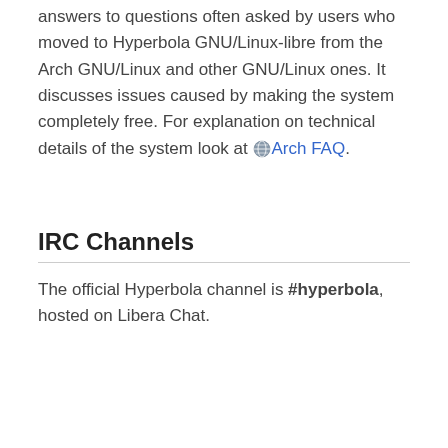answers to questions often asked by users who moved to Hyperbola GNU/Linux-libre from the Arch GNU/Linux and other GNU/Linux ones. It discusses issues caused by making the system completely free. For explanation on technical details of the system look at 🌐 Arch FAQ.
IRC Channels
The official Hyperbola channel is #hyperbola, hosted on Libera Chat.